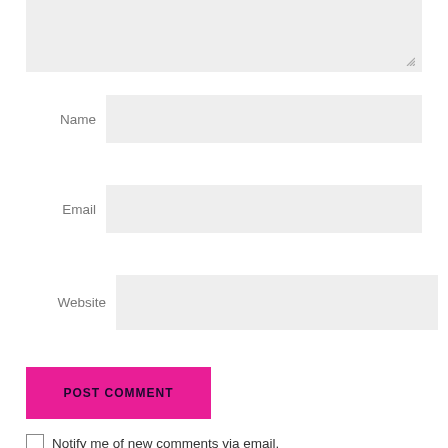[Figure (screenshot): Textarea input box (grayed background) with resize handle at bottom-right corner]
Name
[Figure (screenshot): Name input field (grayed background)]
Email
[Figure (screenshot): Email input field (grayed background)]
Website
[Figure (screenshot): Website input field (grayed background)]
POST COMMENT
Notify me of new comments via email.
Notify me of new posts via email.